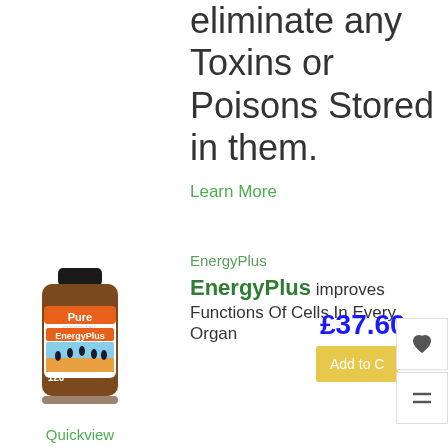eliminate any Toxins or Poisons Stored in them.
Learn More
[Figure (photo): Bottle of EnergyPlus supplement by Pure, containing 120 capsules, with silhouettes of people jumping on a beach at sunset.]
Quickview
EnergyPlus
EnergyPlus improves Functions Of Cells In Every Organ
£37.60
Add to C